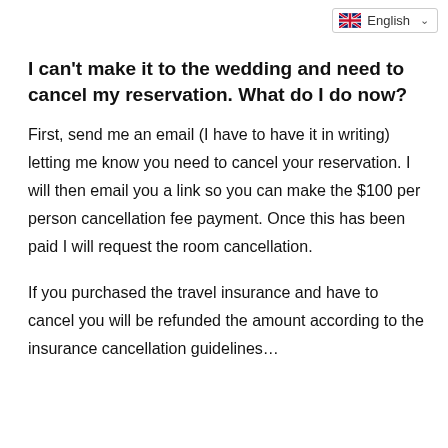English
I can't make it to the wedding and need to cancel my reservation. What do I do now?
First, send me an email (I have to have it in writing) letting me know you need to cancel your reservation. I will then email you a link so you can make the $100 per person cancellation fee payment. Once this has been paid I will request the room cancellation.
If you purchased the travel insurance and have to cancel you will be refunded the amount according to the insurance cancellation guidelines…